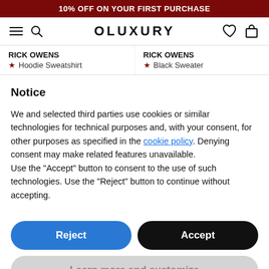10% OFF ON YOUR FIRST PURCHASE
[Figure (screenshot): Navigation bar with hamburger menu, search icon, OLUXURY logo, heart icon, and shopping bag icon]
RICK OWENS
★ Hoodie Sweatshirt
RICK OWENS
★ Black Sweater
Notice
We and selected third parties use cookies or similar technologies for technical purposes and, with your consent, for other purposes as specified in the cookie policy. Denying consent may make related features unavailable.
Use the "Accept" button to consent to the use of such technologies. Use the "Reject" button to continue without accepting.
Reject
Accept
Learn more and customize